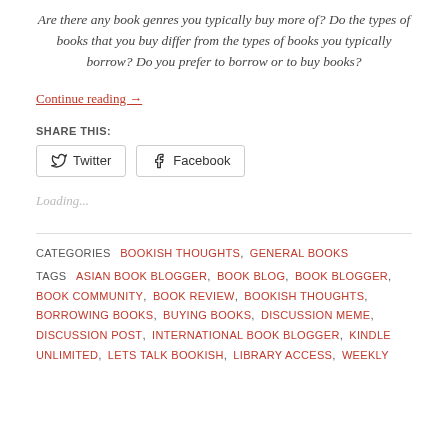Are there any book genres you typically buy more of? Do the types of books that you buy differ from the types of books you typically borrow? Do you prefer to borrow or to buy books?
Continue reading →
SHARE THIS:
Twitter  Facebook
Loading...
CATEGORIES  BOOKISH THOUGHTS, GENERAL BOOKS
TAGS  ASIAN BOOK BLOGGER, BOOK BLOG, BOOK BLOGGER, BOOK COMMUNITY, BOOK REVIEW, BOOKISH THOUGHTS, BORROWING BOOKS, BUYING BOOKS, DISCUSSION MEME, DISCUSSION POST, INTERNATIONAL BOOK BLOGGER, KINDLE UNLIMITED, LETS TALK BOOKISH, LIBRARY ACCESS, WEEKLY